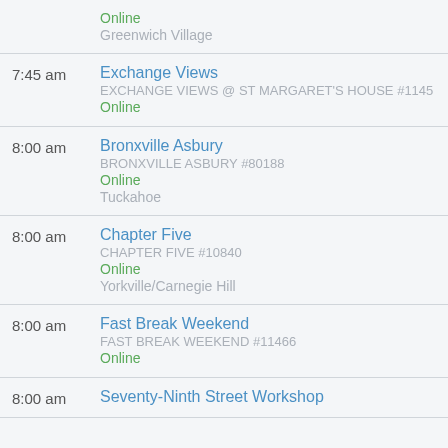Online
Greenwich Village
7:45 am | Exchange Views | EXCHANGE VIEWS @ ST MARGARET'S HOUSE #1145 | Online
8:00 am | Bronxville Asbury | BRONXVILLE ASBURY #80188 | Online | Tuckahoe
8:00 am | Chapter Five | CHAPTER FIVE #10840 | Online | Yorkville/Carnegie Hill
8:00 am | Fast Break Weekend | FAST BREAK WEEKEND #11466 | Online
8:00 am | Seventy-Ninth Street Workshop